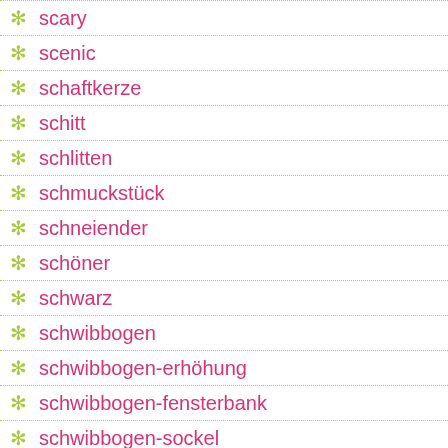scary
scenic
schaftkerze
schitt
schlitten
schmuckstück
schneiender
schöner
schwarz
schwibbogen
schwibbogen-erhöhung
schwibbogen-fensterbank
schwibbogen-sockel
scio